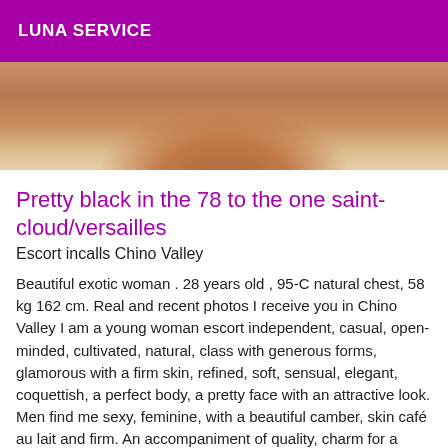LUNA SERVICE
[Figure (photo): Partial photo of a woman, cropped showing torso area with warm skin tones against a light background.]
Pretty black in the 78 to the one saint-cloud/versailles
Escort incalls Chino Valley
Beautiful exotic woman . 28 years old , 95-C natural chest, 58 kg 162 cm. Real and recent photos I receive you in Chino Valley I am a young woman escort independent, casual, open-minded, cultivated, natural, class with generous forms, glamorous with a firm skin, refined, soft, sensual, elegant, coquettish, a perfect body, a pretty face with an attractive look. Men find me sexy, feminine, with a beautiful camber, skin café au lait and firm. An accompaniment of quality, charm for a moment of relaxation, you will spend in my company a sensual and erotic encounter. I wish to meet gallant